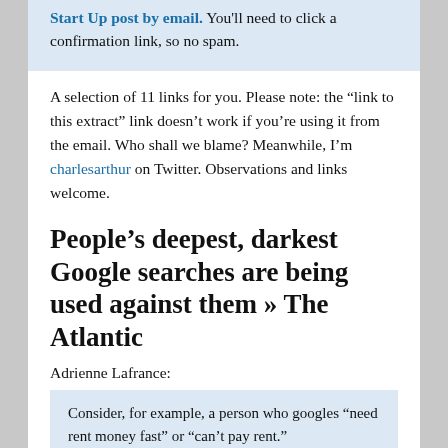Start Up post by email. You'll need to click a confirmation link, so no spam.
A selection of 11 links for you. Please note: the “link to this extract” link doesn’t work if you’re using it from the email. Who shall we blame? Meanwhile, I’m charlesarthur on Twitter. Observations and links welcome.
People’s deepest, darkest Google searches are being used against them » The Atlantic
Adrienne Lafrance:
Consider, for example, a person who googles “need rent money fast” or “can’t pay rent.”